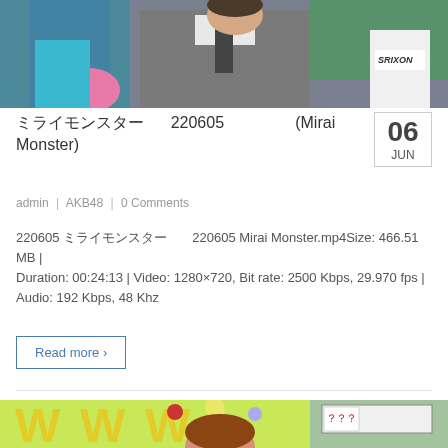[Figure (photo): TV show still featuring a person in a grey pinstripe suit with a tie, sitting in front of colorful props including a pink balloon and sports equipment with a Srixon logo visible.]
ミライモンスター 220605 (Mirai Monster)
admin | AKB48 | 0 Comments
220605 ミライモンスター 220605 Mirai Monster.mp4Size: 466.51 MB | Duration: 00:24:13 | Video: 1280×720, Bit rate: 2500 Kbps, 29.970 fps | Audio: 192 Kbps, 48 Khz
Read more ›
[Figure (photo): TV show still with a female host with reddish-brown hair in front of a colorful game show set with yellow letters and a scoreboard.]